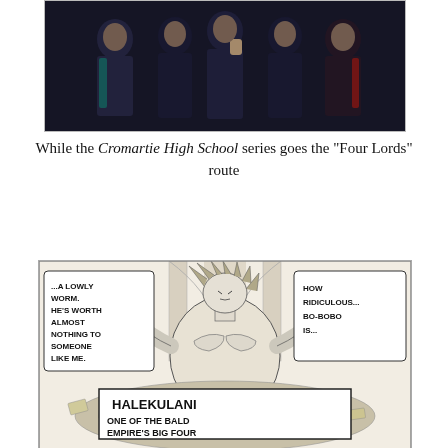[Figure (illustration): Anime-style screenshot from Cromartie High School showing dark-clothed characters standing in a group]
While the Cromartie High School series goes the "Four Lords" route
[Figure (illustration): Black and white manga panel showing muscular character Halekulani with speech bubbles reading '...A LOWLY WORM. HE'S WORTH ALMOST NOTHING TO SOMEONE LIKE ME.' and 'HOW RIDICULOUS... BO-BOBO IS...' with caption 'HALEKULANI ONE OF THE BALD EMPIRE'S BIG FOUR']